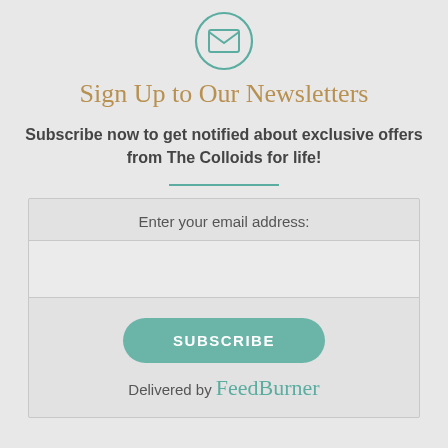[Figure (illustration): Circular envelope/email icon with teal outline on light gray background]
Sign Up to Our Newsletters
Subscribe now to get notified about exclusive offers from The Colloids for life!
Enter your email address:
SUBSCRIBE
Delivered by FeedBurner